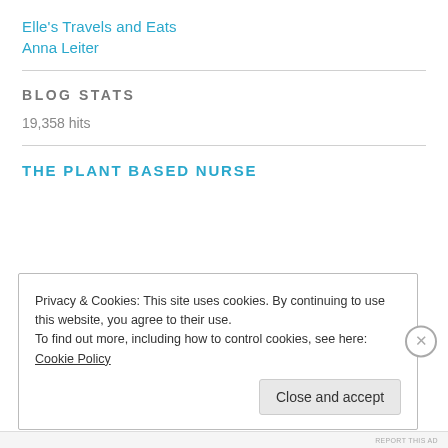Elle's Travels and Eats
Anna Leiter
BLOG STATS
19,358 hits
THE PLANT BASED NURSE
Privacy & Cookies: This site uses cookies. By continuing to use this website, you agree to their use.
To find out more, including how to control cookies, see here: Cookie Policy
Close and accept